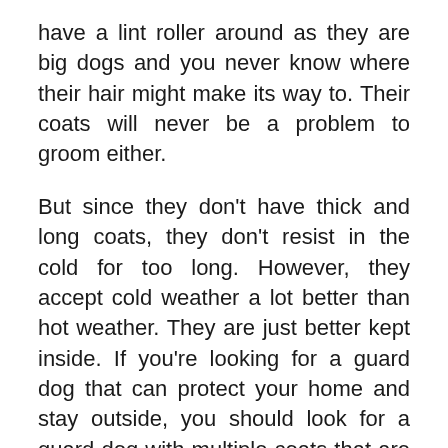have a lint roller around as they are big dogs and you never know where their hair might make its way to. Their coats will never be a problem to groom either.
But since they don't have thick and long coats, they don't resist in the cold for too long. However, they accept cold weather a lot better than hot weather. They are just better kept inside. If you're looking for a guard dog that can protect your home and stay outside, you should look for a guard dog with multiple coats that are long and very thick.
How easy it is to groom?